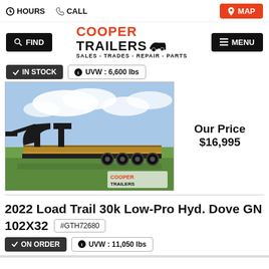HOURS   CALL   MAP
[Figure (logo): Cooper Trailers logo with text: COOPER TRAILERS, SALES - TRADES - REPAIR - PARTS]
IN STOCK   UVW : 6,600 lbs
[Figure (photo): Photo of a black gooseneck flatbed trailer parked on grass with blue sky background. Cooper Trailers watermark in bottom right corner.]
Our Price $16,995
2022 Load Trail 30k Low-Pro Hyd. Dove GN 102X32
#GTH72680
ON ORDER   UVW : 11,050 lbs